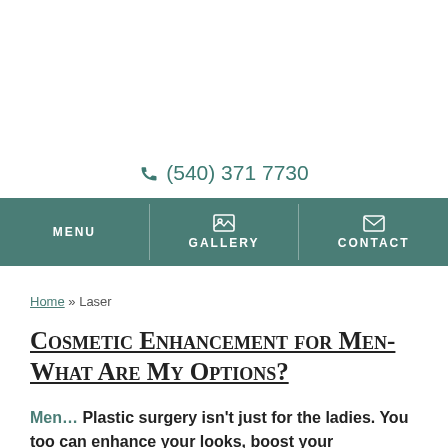(540) 371 7730
MENU | GALLERY | CONTACT
Home » Laser
Cosmetic Enhancement for Men- What Are My Options?
Men… Plastic surgery isn't just for the ladies. You too can enhance your looks, boost your confidence, and maintain the competitive edge in your career through cosmetic